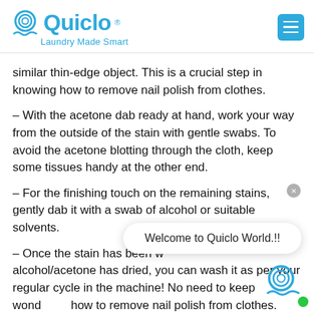[Figure (logo): Quiclo logo with spiral Q icon and tagline 'Laundry Made Smart' in blue, with hamburger menu button on the right]
similar thin-edge object. This is a crucial step in knowing how to remove nail polish from clothes.
– With the acetone dab ready at hand, work your way from the outside of the stain with gentle swabs. To avoid the acetone blotting through the cloth, keep some tissues handy at the other end.
– For the finishing touch on the remaining stains, gently dab it with a swab of alcohol or suitable solvents.
– Once the stain has been w[obscured] alcohol/acetone has dried, you can wash it as per your regular cycle in the machine! No need to keep wond[ering] how to remove nail polish from clothes.
[Figure (screenshot): Chat popup overlay reading 'Welcome to Quiclo World.!!']
[Figure (logo): Quiclo spiral icon FAB button with green dot]